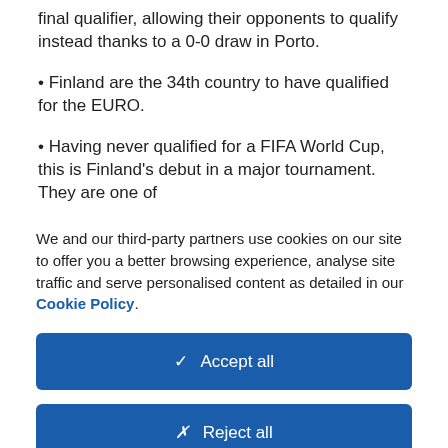final qualifier, allowing their opponents to qualify instead thanks to a 0-0 draw in Porto.
• Finland are the 34th country to have qualified for the EURO.
• Having never qualified for a FIFA World Cup, this is Finland's debut in a major tournament. They are one of
We and our third-party partners use cookies on our site to offer you a better browsing experience, analyse site traffic and serve personalised content as detailed in our Cookie Policy.
✓  Accept all
✗  Reject all
Cookie settings >